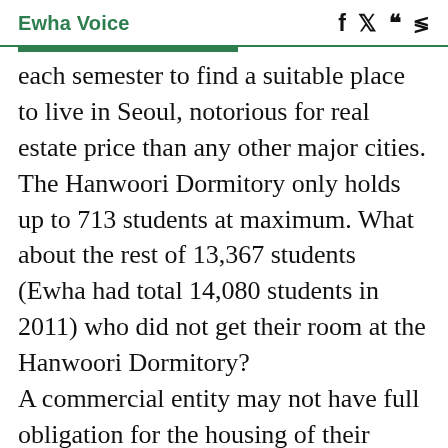Ewha Voice
each semester to find a suitable place to live in Seoul, notorious for real estate price than any other major cities. The Hanwoori Dormitory only holds up to 713 students at maximum. What about the rest of 13,367 students (Ewha had total 14,080 students in 2011) who did not get their room at the Hanwoori Dormitory? A commercial entity may not have full obligation for the housing of their members. But as an education institution, it does have responsibilities to provide safe and sound condition for their students to reach their academic goals